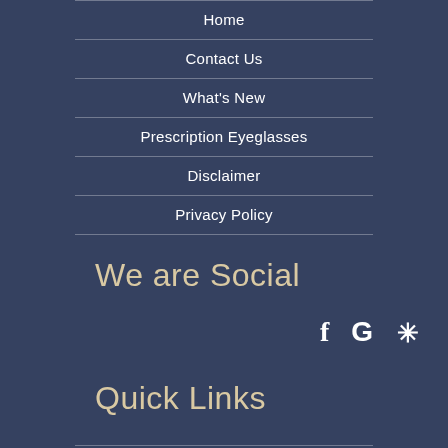Home
Contact Us
What's New
Prescription Eyeglasses
Disclaimer
Privacy Policy
We are Social
[Figure (infographic): Social media icons: Facebook (f), Google (G), Yelp (asterisk/flower icon)]
Quick Links
Hours & Locations